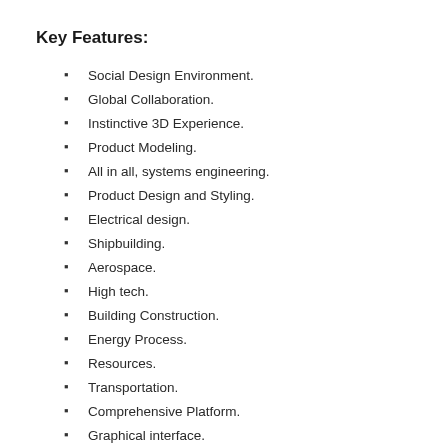Key Features:
Social Design Environment.
Global Collaboration.
Instinctive 3D Experience.
Product Modeling.
All in all, systems engineering.
Product Design and Styling.
Electrical design.
Shipbuilding.
Aerospace.
High tech.
Building Construction.
Energy Process.
Resources.
Transportation.
Comprehensive Platform.
Graphical interface.
The latest tools…